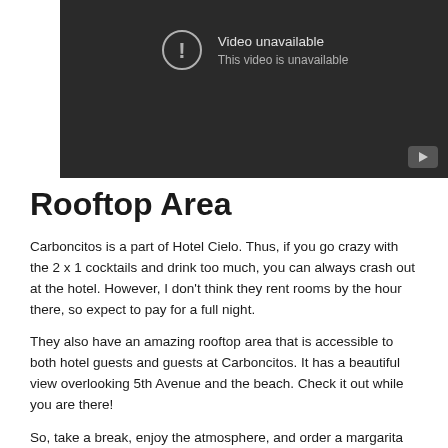[Figure (screenshot): YouTube-style video unavailable placeholder: dark background with a circle exclamation icon, 'Video unavailable' heading, 'This video is unavailable' subtext, and a YouTube play button in the bottom-right corner.]
Rooftop Area
Carboncitos is a part of Hotel Cielo. Thus, if you go crazy with the 2 x 1 cocktails and drink too much, you can always crash out at the hotel. However, I don't think they rent rooms by the hour there, so expect to pay for a full night.
They also have an amazing rooftop area that is accessible to both hotel guests and guests at Carboncitos. It has a beautiful view overlooking 5th Avenue and the beach. Check it out while you are there!
So, take a break, enjoy the atmosphere, and order a margarita